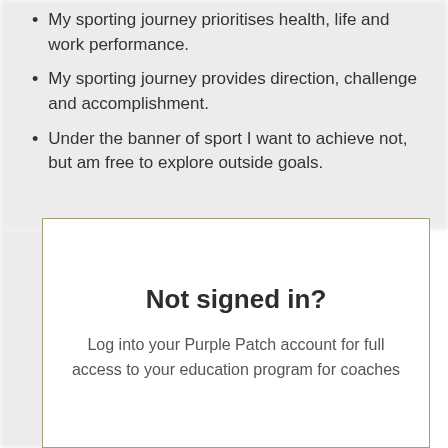My sporting journey prioritises health, life and work performance.
My sporting journey provides direction, challenge and accomplishment.
Under the banner of sport I want to achieve not, but am free to explore outside goals.
Not signed in?
Log into your Purple Patch account for full access to your education program for coaches